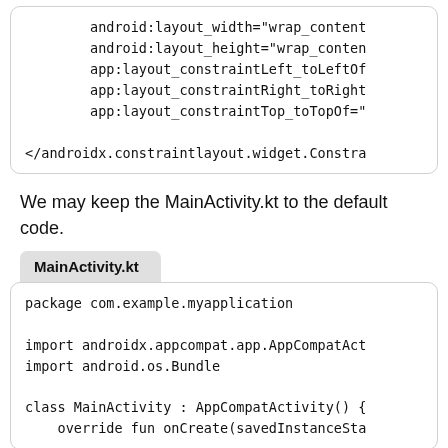android:layout_width="wrap_content
        android:layout_height="wrap_conten
        app:layout_constraintLeft_toLeftOf
        app:layout_constraintRight_toRight
        app:layout_constraintTop_toTopOf="

</androidx.constraintlayout.widget.Constra
We may keep the MainActivity.kt to the default code.
MainActivity.kt
package com.example.myapplication

import androidx.appcompat.app.AppCompatAct
import android.os.Bundle

class MainActivity : AppCompatActivity() {
    override fun onCreate(savedInstanceSta